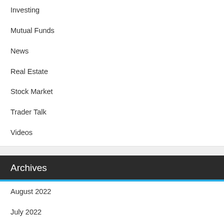Investing
Mutual Funds
News
Real Estate
Stock Market
Trader Talk
Videos
Archives
August 2022
July 2022
June 2022